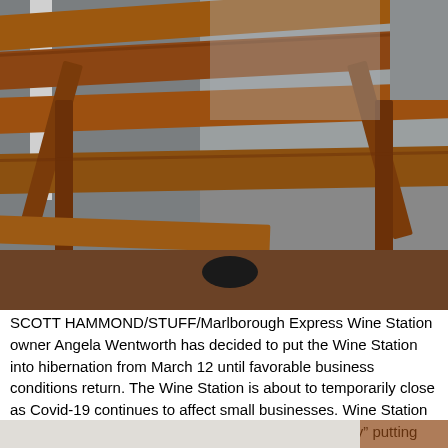[Figure (photo): Photo of a wooden picnic table or bench structure, brown reddish wood slats visible against a grey background (building wall/window). A dark round object is visible beneath the table. Photo credit: SCOTT HAMMOND/STUFF/Marlborough Express.]
SCOTT HAMMOND/STUFF/Marlborough Express Wine Station owner Angela Wentworth has decided to put the Wine Station into hibernation from March 12 until favorable business conditions return. The Wine Station is about to temporarily close as Covid-19 continues to affect small businesses. Wine Station owner Angela Wentworth said she was “unfortunately” putting the business into hibernation from […]]]>